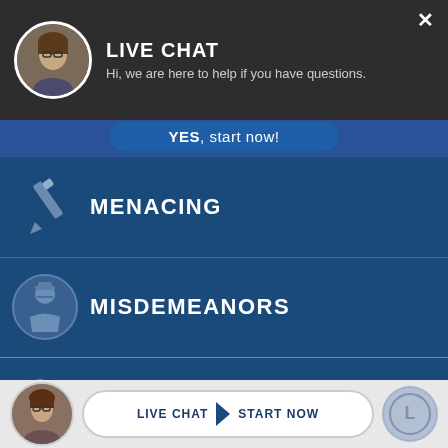[Figure (screenshot): Live chat popup header with avatar photo of woman with glasses, 'LIVE CHAT' title, subtitle text, and close button]
LIVE CHAT
Hi, we are here to help if you have questions.
YES, start now!
MENACING
MISDEMEANORS
MUNICIPAL OFFENSES
[Figure (infographic): Bottom live chat footer bar with small avatar photo, LIVE CHAT | START NOW button, and logo circle]
LIVE CHAT  START NOW